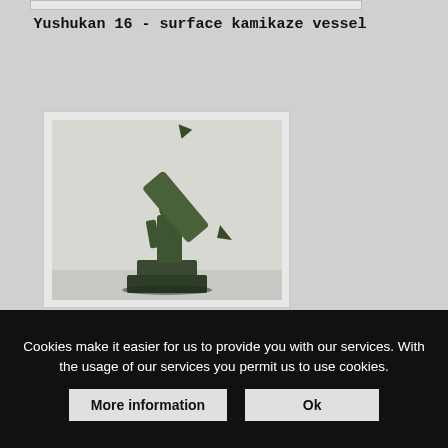Yushukan 16 - surface kamikaze vessel
[Figure (photo): A dark green statue/figurine of a soldier holding a large rocket or torpedo-like weapon raised at an angle, displayed on a pedestal in a museum setting (Yushukan). The background is a light grey wall.]
Cookies make it easier for us to provide you with our services. With the usage of our services you permit us to use cookies.